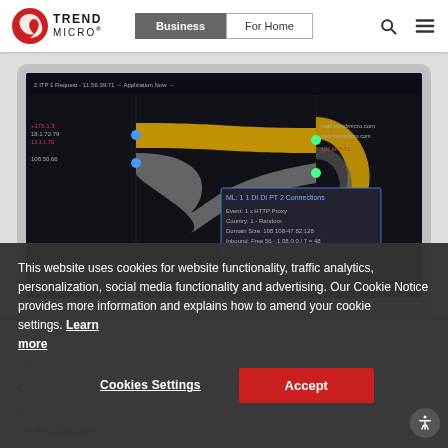[Figure (logo): Trend Micro logo - red circular icon with white swirl and TREND MICRO text]
Business | For Home
[Figure (screenshot): Laptop showing Trend Micro network visualization dashboard with dark background, showing network traffic flow diagram with yellow/gold curved connections between nodes, and a detail panel popup]
Trend Micro detection and investigation impossible to achieve with SIEM, EDR or other individual point s...
This website uses cookies for website functionality, traffic analytics, personalization, social media functionality and advertising. Our Cookie Notice provides more information and explains how to amend your cookie settings. Learn more
Cookies Settings
Accept